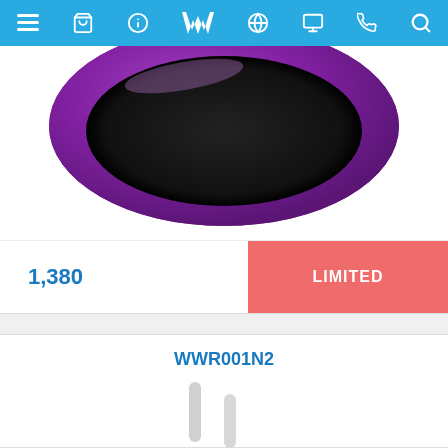Navigation bar with menu, cart, info, logo, globe, display, phone, search icons
[Figure (photo): Purple non-stick frying pan / wok viewed from above, showing black interior, cropped at top]
1,380
LIMITED
WWR001N2
[Figure (photo): Product image partially visible — white/grey antenna-like rods on white background]